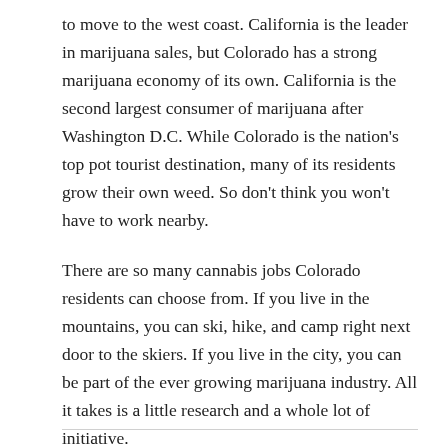to move to the west coast. California is the leader in marijuana sales, but Colorado has a strong marijuana economy of its own. California is the second largest consumer of marijuana after Washington D.C. While Colorado is the nation's top pot tourist destination, many of its residents grow their own weed. So don't think you won't have to work nearby.
There are so many cannabis jobs Colorado residents can choose from. If you live in the mountains, you can ski, hike, and camp right next door to the skiers. If you live in the city, you can be part of the ever growing marijuana industry. All it takes is a little research and a whole lot of initiative.